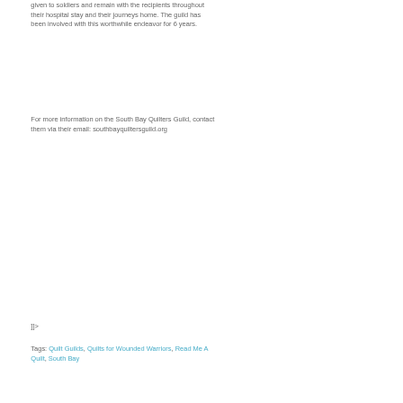given to soldiers and remain with the recipients throughout their hospital stay and their journeys home. The guild has been involved with this worthwhile endeavor for 6 years.
For more information on the South Bay Quilters Guild, contact them via their email: southbayquiltersguild.org
]]>
Tags: Quilt Guilds, Quilts for Wounded Warriors, Read Me A Quilt, South Bay